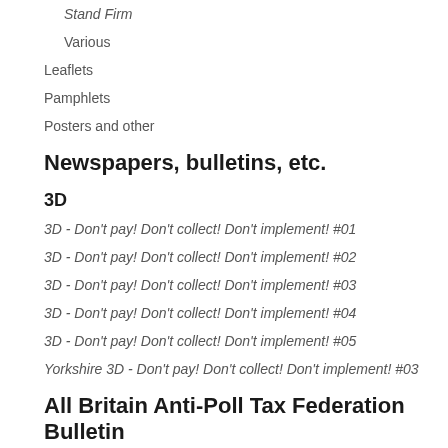Stand Firm
Various
Leaflets
Pamphlets
Posters and other
Newspapers, bulletins, etc.
3D
3D - Don't pay! Don't collect! Don't implement! #01
3D - Don't pay! Don't collect! Don't implement! #02
3D - Don't pay! Don't collect! Don't implement! #03
3D - Don't pay! Don't collect! Don't implement! #04
3D - Don't pay! Don't collect! Don't implement! #05
Yorkshire 3D - Don't pay! Don't collect! Don't implement! #03
All Britain Anti-Poll Tax Federation Bulletin
All Britain Anti-Poll Tax Federation - Bulletin #01